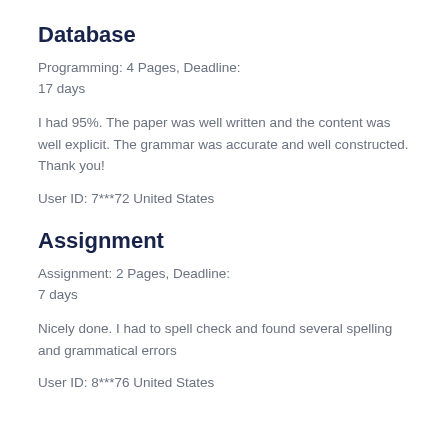Database
Programming: 4 Pages, Deadline:
17 days
I had 95%. The paper was well written and the content was well explicit. The grammar was accurate and well constructed. Thank you!
User ID: 7***72 United States
Assignment
Assignment: 2 Pages, Deadline:
7 days
Nicely done. I had to spell check and found several spelling and grammatical errors
User ID: 8***76 United States